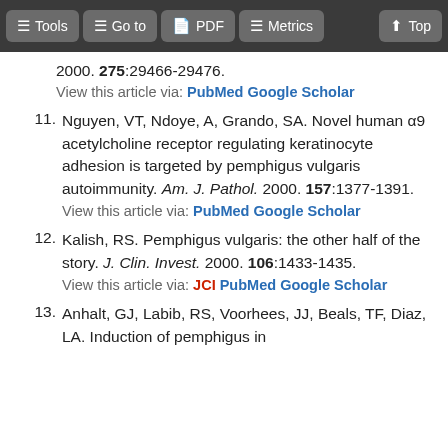Tools | Go to | PDF | Metrics | Top
2000. 275:29466-29476.
View this article via: PubMed Google Scholar
11. Nguyen, VT, Ndoye, A, Grando, SA. Novel human α9 acetylcholine receptor regulating keratinocyte adhesion is targeted by pemphigus vulgaris autoimmunity. Am. J. Pathol. 2000. 157:1377-1391. View this article via: PubMed Google Scholar
12. Kalish, RS. Pemphigus vulgaris: the other half of the story. J. Clin. Invest. 2000. 106:1433-1435. View this article via: JCI PubMed Google Scholar
13. Anhalt, GJ, Labib, RS, Voorhees, JJ, Beals, TF, Diaz, LA. Induction of pemphigus in